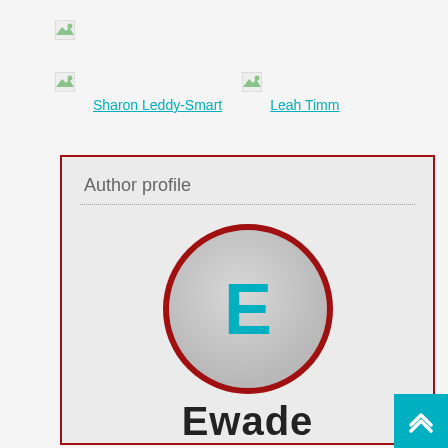[Figure (logo): Broken image placeholder icon at top left]
[Figure (photo): Author avatar placeholder icon for Sharon Leddy-Smart]
Sharon Leddy-Smart
[Figure (photo): Author avatar placeholder icon for Leah Timm]
Leah Timm
Author profile
[Figure (illustration): Large circular avatar with letter E in teal on grey background, red border circle]
Ewade